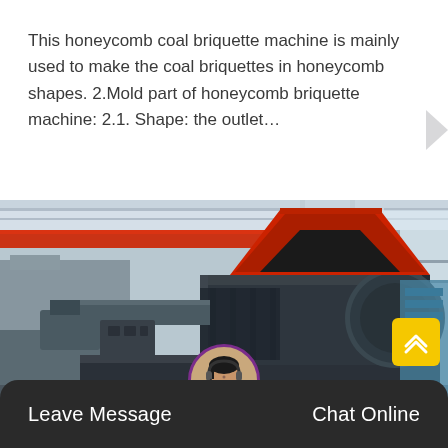This honeycomb coal briquette machine is mainly used to make the coal briquettes in honeycomb shapes. 2.Mold part of honeycomb briquette machine: 2.1. Shape: the outlet…
[Figure (photo): Photograph of a large industrial honeycomb coal briquette machine in a factory setting. The machine is dark grey/black metal with a funnel-shaped hopper on top and rectangular body with mold sections. Factory overhead cranes and industrial equipment visible in background.]
Leave Message   Chat Online